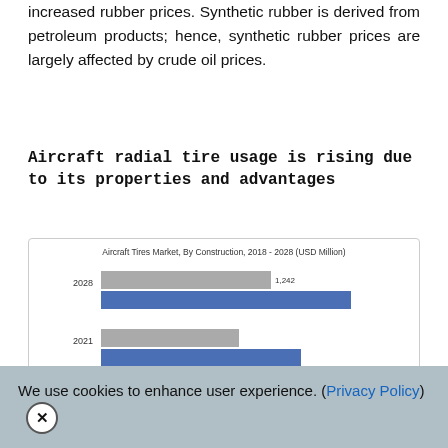increased rubber prices. Synthetic rubber is derived from petroleum products; hence, synthetic rubber prices are largely affected by crude oil prices.
Aircraft radial tire usage is rising due to its properties and advantages
[Figure (grouped-bar-chart): Aircraft Tires Market, By Construction, 2018 - 2028 (USD Million)]
We use cookies to enhance user experience. (Privacy Policy) X